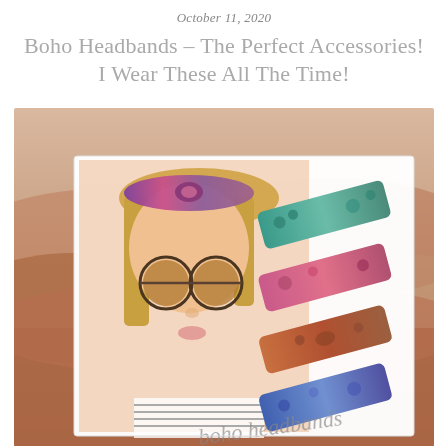October 11, 2020
Boho Headbands – The Perfect Accessories! I Wear These All The Time!
[Figure (photo): Product photo showing a blonde woman wearing a colorful boho/bohemian twisted fabric headband with sunglasses, alongside a collage of 4 additional headband styles in various floral and watercolor patterns (teal/green, pink/red, orange/brown, and blue/purple). Background shows sandy desert dunes. A cursive watermark 'headbands' is visible at the bottom right.]